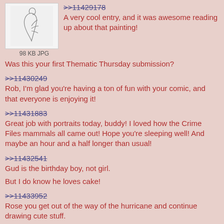[Figure (illustration): Sketch/line drawing thumbnail of a figure, labeled 98 KB JPG]
>>11429178
A very cool entry, and it was awesome reading up about that painting!
Was this your first Thematic Thursday submission?
>>11430249
Rob, I'm glad you're having a ton of fun with your comic, and that everyone is enjoying it!
>>11431883
Great job with portraits today, buddy! I loved how the Crime Files mammals all came out! Hope you're sleeping well! And maybe an hour and a half longer than usual!
>>11432541
Gud is the birthday boy, not girl.

But I do know he loves cake!
>>11433952
Rose you get out of the way of the hurricane and continue drawing cute stuff.
>>11435147 #
Your art is wonderful and I bet it has been used as an OP before!